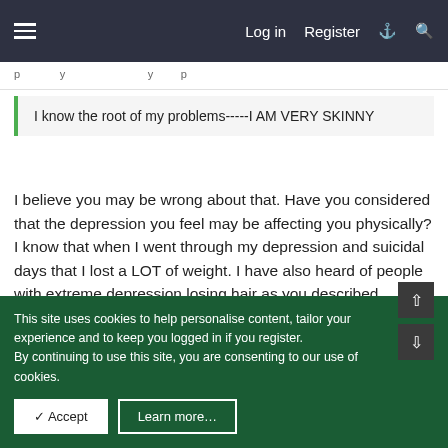Log in  Register
I know the root of my problems-----I AM VERY SKINNY
I believe you may be wrong about that. Have you considered that the depression you feel may be affecting you physically? I know that when I went through my depression and suicidal days that I lost a LOT of weight. I have also heard of people with extreme depression losing hair as you described.

If you can put aside the way you feel for a moment, could you tell us more about yourself and what your goals are? Ignore
This site uses cookies to help personalise content, tailor your experience and to keep you logged in if you register.
By continuing to use this site, you are consenting to our use of cookies.